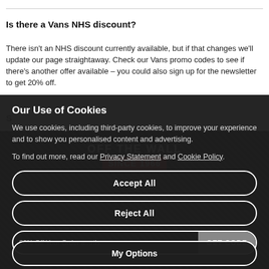Is there a Vans NHS discount?
There isn't an NHS discount currently available, but if that changes we'll update our page straightaway. Check our Vans promo codes to see if there's another offer available – you could also sign up for the newsletter to get 20% off.
S...
[Figure (photo): Vans brand promotional image with 'OFF THE WALL SINCE 1966' text on dark patterned background]
Our Use of Cookies
We use cookies, including third-party cookies, to improve your experience and to show you personalised content and advertising.
To find out more, read our Privacy Statement and Cookie Policy.
Accept All
Reject All
My Options
20% Off Your Order a...   GET CODE